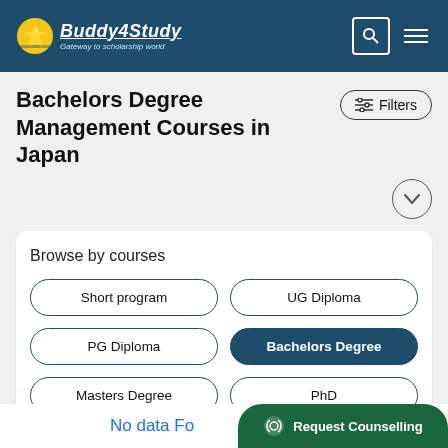Buddy4Study - Gateway to scholarship world
Bachelors Degree Management Courses in Japan
Filters
Browse by courses
Short program
UG Diploma
PG Diploma
Bachelors Degree
Masters Degree
PhD
No data Fo...
Request Counselling